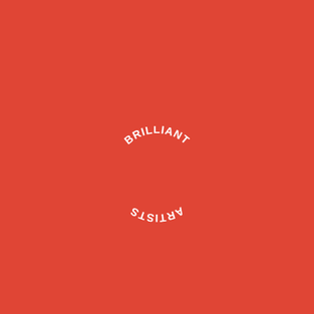[Figure (logo): Circular logo on red background with 'BRILLIANT ARTISTS' text arranged in a circle. 'BRILLIANT' arcs along the top half and 'ARTISTS' arcs along the bottom half (upside down), creating a circular badge/stamp design in white on red.]